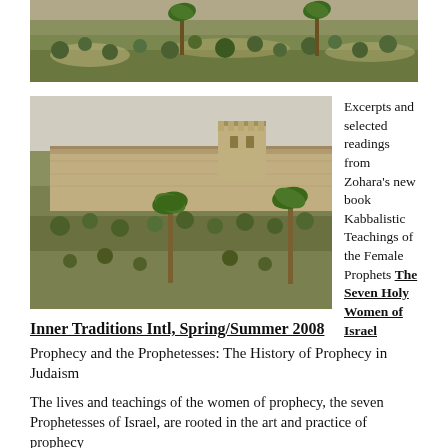[Figure (photo): Aerial or hillside view of olive trees, palm trees, and rocky terrain in Israel]
[Figure (photo): Ancient stone walls (likely Jerusalem old city walls) with towers, olive trees, and palm trees on terraced hillside]
Excerpts and selected readings from Zohara's new book Kabbalistic Teachings of the Female Prophets The Seven Holy Women of Israel
Inner Traditions Intl, Spring/Summer 2008
Prophecy and the Prophetesses: The History of Prophecy in Judaism
The lives and teachings of the women of prophecy, the seven Prophetesses of Israel, are rooted in the art and practice of prophecy